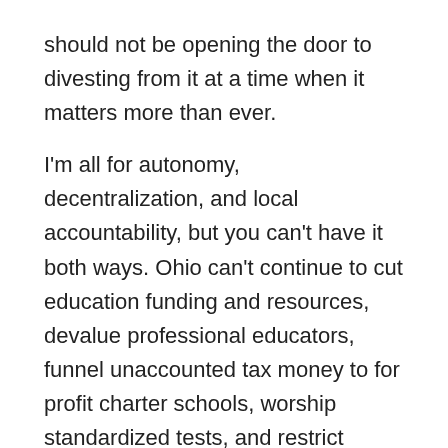should not be opening the door to divesting from it at a time when it matters more than ever.
I'm all for autonomy, decentralization, and local accountability, but you can't have it both ways. Ohio can't continue to cut education funding and resources, devalue professional educators, funnel unaccounted tax money to for profit charter schools, worship standardized tests, and restrict public school curriculum and then pretend to give local districts real and viable choices.  Our local districts are measured in limited ways, are stretched to beyond their limits, lack checks and balances at the school board level, and have limited choices in curriculum, particularly at the